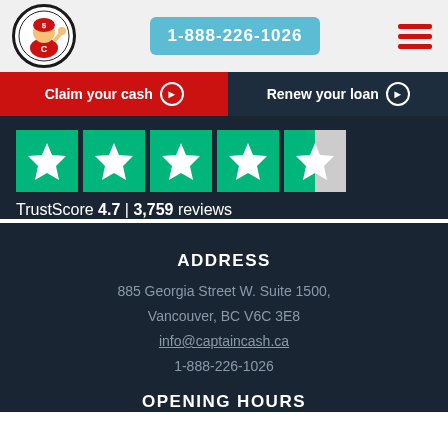[Figure (logo): Captain Cash mascot logo - superhero character with dollar sign helmet in circular border]
1-888-226-1026
[Figure (other): Hamburger menu icon with three red horizontal bars]
Claim your cash ▶
Renew your loan ▶
[Figure (other): Trustpilot 5 green star rating boxes with 4 full green stars and 1 half grey star]
TrustScore 4.7 | 3,759 reviews
ADDRESS
885 Georgia Street W. Suite 1500,
Vancouver, BC V6C 3E8
info@captaincash.ca
1-888-226-1026
OPENING HOURS